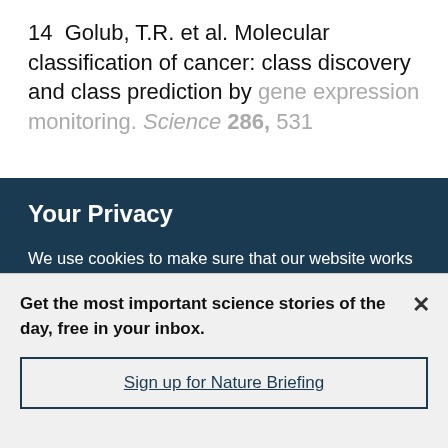14  Golub, T.R. et al. Molecular classification of cancer: class discovery and class prediction by gene expression monitoring. Science 286, 531
Your Privacy
We use cookies to make sure that our website works properly, as well as some ‘optional’ cookies to personalise content and advertising, provide social media features and analyse how people use our site. By accepting some or all optional cookies you give consent to the processing of your personal data, including transfer to third parties, some in countries outside of the European Economic Area that do not offer the same data protection standards as the country where you live. You can decide which optional cookies to accept by clicking on ‘Manage Settings’, where you can
Get the most important science stories of the day, free in your inbox.
Sign up for Nature Briefing